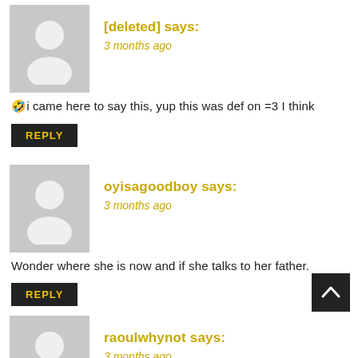[deleted] says: 3 months ago
🤣i came here to say this, yup this was def on =3 I think
REPLY
oyisagoodboy says: 3 months ago
Wonder where she is now and if she talks to her father.
REPLY
raoulwhynot says: 3 months ago